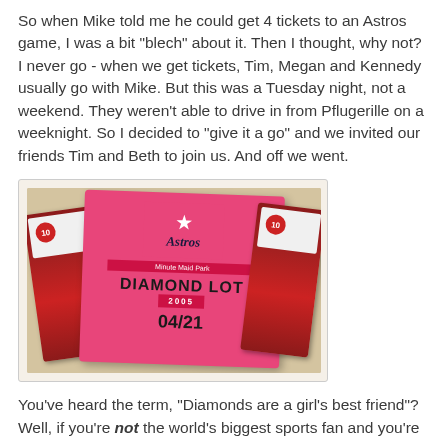So when Mike told me he could get 4 tickets to an Astros game, I was a bit "blech" about it. Then I thought, why not? I never go - when we get tickets, Tim, Megan and Kennedy usually go with Mike. But this was a Tuesday night, not a weekend. They weren't able to drive in from Pflugerille on a weeknight. So I decided to "give it a go" and we invited our friends Tim and Beth to join us. And off we went.
[Figure (photo): Photo of three Astros tickets on a light background. The center ticket is a large pink/magenta Diamond Lot parking pass with the Astros star logo, reading 'DIAMOND LOT' and date '04/21'. Two red Astros game tickets flank it on either side.]
You've heard the term, "Diamonds are a girl's best friend"? Well, if you're not the world's biggest sports fan and you're